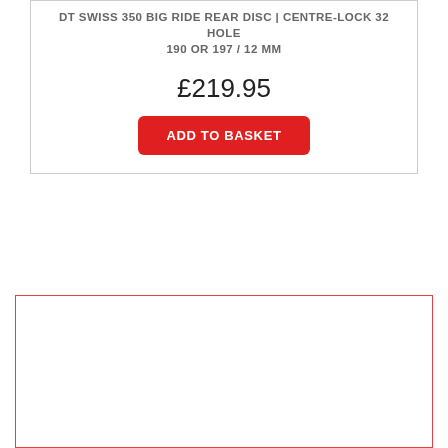DT SWISS 350 BIG RIDE REAR DISC | CENTRE-LOCK 32 HOLE 190 OR 197 / 12 MM
£219.95
ADD TO BASKET
[Figure (other): Empty white card/panel with a red border, representing a product image placeholder]